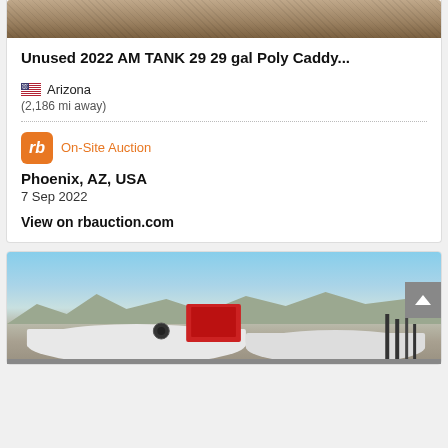[Figure (photo): Top portion of auction item photo showing gravel/dirt ground]
Unused 2022 AM TANK 29 29 gal Poly Caddy...
Arizona
(2,186 mi away)
[Figure (logo): Ritchie Bros rb orange logo square with italic rb text]
On-Site Auction
Phoenix, AZ, USA
7 Sep 2022
View on rbauction.com
[Figure (photo): Outdoor auction yard photo showing white fuel/water tanks with red equipment and mountains in background under blue sky]